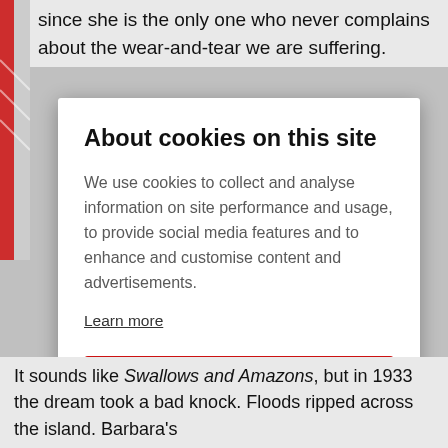since she is the only one who never complains about the wear-and-tear we are suffering.
About cookies on this site
We use cookies to collect and analyse information on site performance and usage, to provide social media features and to enhance and customise content and advertisements.
Learn more
ALLOW ALL COOKIES
COOKIE SETTINGS
It sounds like Swallows and Amazons, but in 1933 the dream took a bad knock. Floods ripped across the island. Barbara's